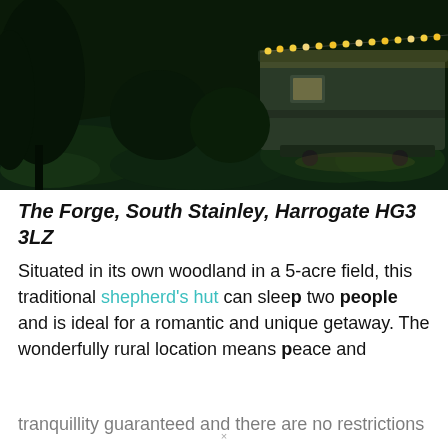[Figure (photo): Night-time photograph of a shepherd's hut with string lights along its roof edge, set in a grassy woodland field with dark surroundings.]
The Forge, South Stainley, Harrogate HG3 3LZ
Situated in its own woodland in a 5-acre field, this traditional shepherd's hut can sleep two people and is ideal for a romantic and unique getaway. The wonderfully rural location means peace and tranquillity guaranteed and there are no restrictions...